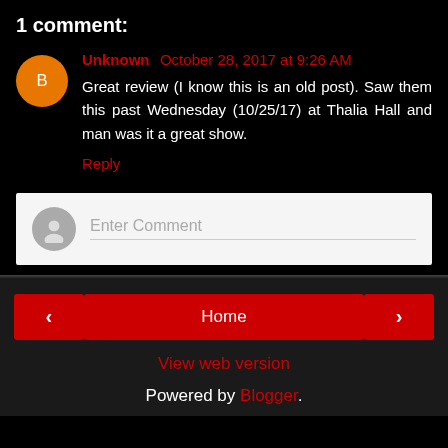1 comment:
Unknown October 28, 2017 at 9:26 AM
Great review (I know this is an old post). Saw them this past Wednesday (10/25/17) at Thalia Hall and man was it a great show.
Reply
Enter Comment
Home | View web version | Powered by Blogger.